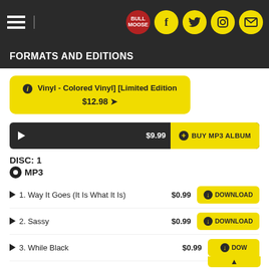Navigation bar with hamburger menu and social icons
FORMATS AND EDITIONS
Vinyl - Colored Vinyl] [Limited Edition $12.98
$9.99  BUY MP3 ALBUM
DISC: 1
MP3
1. Way It Goes (It Is What It Is)  $0.99  DOWNLOAD
2. Sassy  $0.99  DOWNLOAD
3. While Black  $0.99  DOW...
4. Wakanda Bounce  $0.99  DOWNLOAD